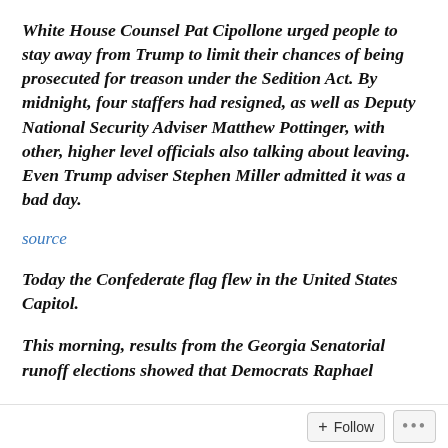White House Counsel Pat Cipollone urged people to stay away from Trump to limit their chances of being prosecuted for treason under the Sedition Act. By midnight, four staffers had resigned, as well as Deputy National Security Adviser Matthew Pottinger, with other, higher level officials also talking about leaving. Even Trump adviser Stephen Miller admitted it was a bad day.
source
Today the Confederate flag flew in the United States Capitol.
This morning, results from the Georgia Senatorial runoff elections showed that Democrats Raphael
Follow ···